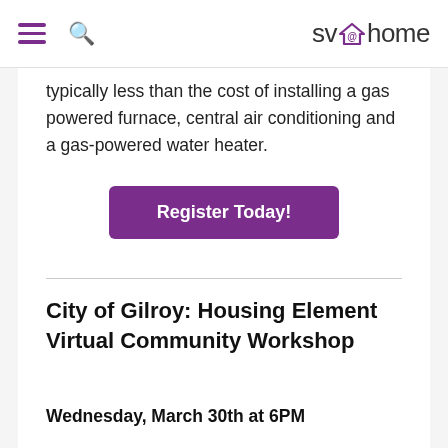sv@home
typically less than the cost of installing a gas powered furnace, central air conditioning and a gas-powered water heater.
[Figure (other): Purple 'Register Today!' button]
City of Gilroy: Housing Element Virtual Community Workshop
Wednesday, March 30th at 6PM
The City hired a consultant team to help the City update the Housing Element, starting with a review of our current Housing Element, conducting